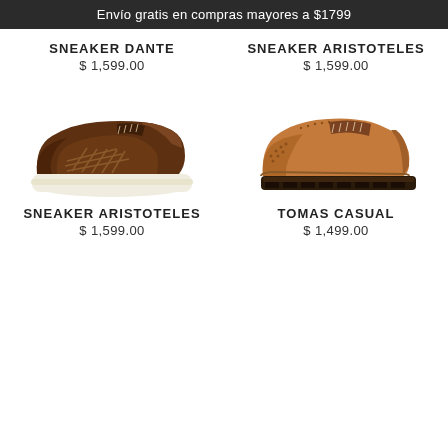Envío gratis en compras mayores a $1799
SNEAKER DANTE
$ 1,599.00
SNEAKER ARISTOTELES
$ 1,599.00
[Figure (photo): Brown woven leather sneaker with white chunky sole, side profile view]
[Figure (photo): Tan leather derby brogue shoe with dark lug sole, side profile view]
SNEAKER ARISTOTELES
$ 1,599.00
TOMAS CASUAL
$ 1,499.00